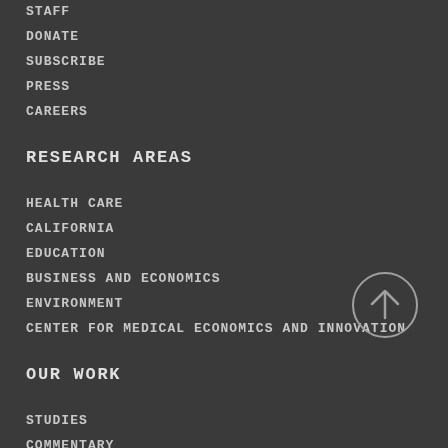STAFF
DONATE
SUBSCRIBE
PRESS
CAREERS
RESEARCH AREAS
HEALTH CARE
CALIFORNIA
EDUCATION
BUSINESS AND ECONOMICS
ENVIRONMENT
CENTER FOR MEDICAL ECONOMICS AND INNOVATION
OUR WORK
STUDIES
COMMENTARY